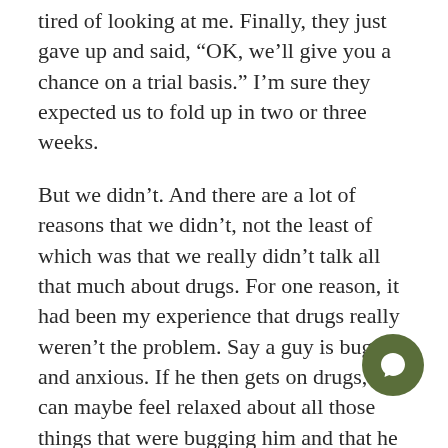tired of looking at me. Finally, they just gave up and said, “OK, we’ll give you a chance on a trial basis.” I’m sure they expected us to fold up in two or three weeks.
But we didn’t. And there are a lot of reasons that we didn’t, not the least of which was that we really didn’t talk all that much about drugs. For one reason, it had been my experience that drugs really weren’t the problem. Say a guy is bugged and anxious. If he then gets on drugs, he can maybe feel relaxed about all those things that were bugging him and that he didn’t want to handle.
Also, I noticed that whenever I would increase my ability and was able to do something, I felt bett… I felt less inclined to use narcotics. I came to vie… narcotic usage as a disability. A person would use